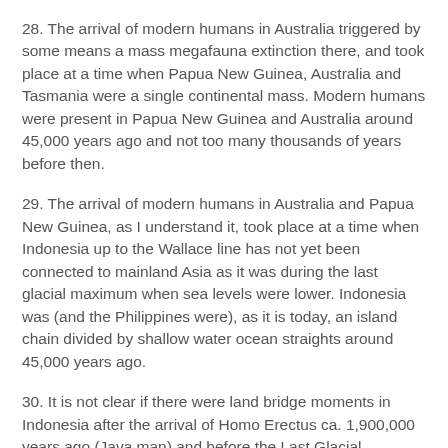28.  The arrival of modern humans in Australia triggered by some means a mass megafauna extinction there, and took place at a time when Papua New Guinea, Australia and Tasmania were a single continental mass.  Modern humans were present in Papua New Guinea and Australia around 45,000 years ago and not too many thousands of years before then.
29.  The arrival of modern humans in Australia and Papua New Guinea, as I understand it, took place at a time when Indonesia up to the Wallace line has not yet been connected to mainland Asia as it was during the last glacial maximum when sea levels were lower.  Indonesia was (and the Philippines were), as it is today, an island chain divided by shallow water ocean straights around 45,000 years ago.
30.  It is not clear if there were land bridge moments in Indonesia after the arrival of Homo Erectus ca. 1,900,000 years ago (Java man) and before the Last Glacial maximum, although it doesn't seem unreasonable to think that there might have been such time periods.